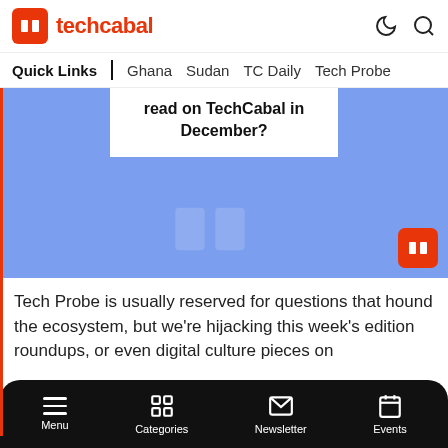techcabal
Quick Links | Ghana  Sudan  TC Daily  Tech Probe
[Figure (illustration): Blue background hero image with white card overlay showing text 'read on TechCabal in December?' and TechCabal logo in bottom right corner]
Tech Probe is usually reserved for questions that hound the ecosystem, but we're hijacking this week's edition
Menu  Categories  Newsletter  Events